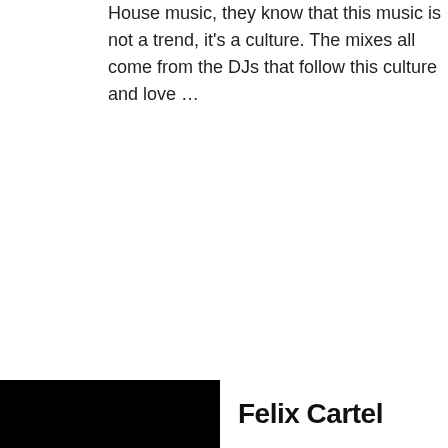House music, they know that this music is not a trend, it's a culture. The mixes all come from the DJs that follow this culture and love ...
[Figure (photo): Black rectangular image in the bottom left, next to bold text reading 'Felix Cartel']
Felix Cartel